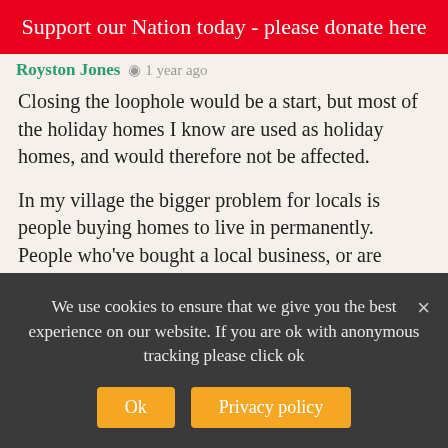Support our Nation today - please donate here
Royston Jones  1 year ago
Closing the loophole would be a start, but most of the holiday homes I know are used as holiday homes, and would therefore not be affected.
In my village the bigger problem for locals is people buying homes to live in permanently. People who've bought a local business, or are taking a local job, or else just retiring. What's Cymgor Gwynedd's solution for this?
Though it's nice to see my local council waking up to the problem after waiting so long to introduce the
We use cookies to ensure that we give you the best experience on our website. If you are ok with anonymous tracking please click ok
Ok
Privacy policy